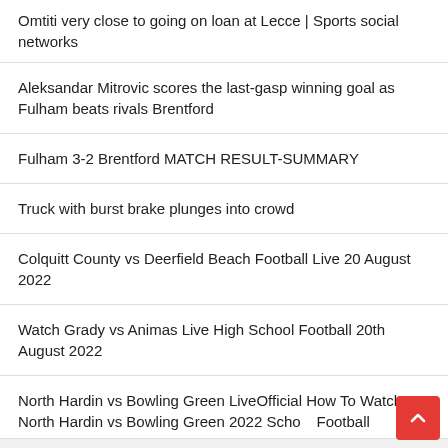Omtiti very close to going on loan at Lecce | Sports social networks
Aleksandar Mitrovic scores the last-gasp winning goal as Fulham beats rivals Brentford
Fulham 3-2 Brentford MATCH RESULT-SUMMARY
Truck with burst brake plunges into crowd
Colquitt County vs Deerfield Beach Football Live 20 August 2022
Watch Grady vs Animas Live High School Football 20th August 2022
North Hardin vs Bowling Green LiveOfficial How To Watch North Hardin vs Bowling Green 2022 School Football